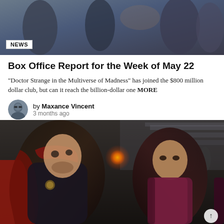[Figure (photo): Movie scene from Doctor Strange in the Multiverse of Madness, top banner image]
NEWS
Box Office Report for the Week of May 22
"Doctor Strange in the Multiverse of Madness" has joined the $800 million dollar club, but can it reach the billion-dollar one MORE
by Maxance Vincent
3 months ago
[Figure (photo): Movie still from Doctor Strange in the Multiverse of Madness showing Doctor Strange and Wong in an outdoor scene]